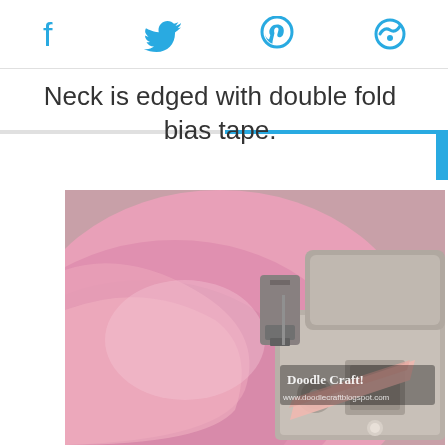Social share icons: Facebook, Twitter, Pinterest, other
Neck is edged with double fold bias tape.
[Figure (photo): Close-up photo of a sewing machine stitching pink fabric with bias tape. Watermark reads 'Doodle Craft! www.doodlecraftblogspot.com']